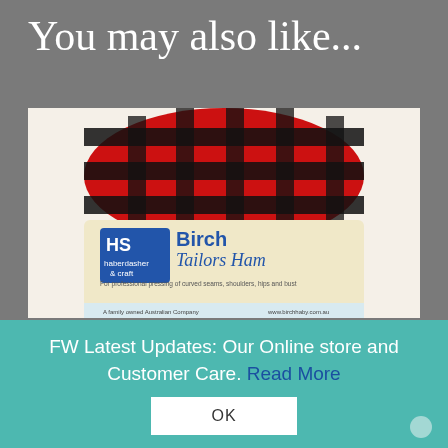You may also like...
[Figure (photo): A Birch Tailors Ham product with red and black plaid fabric top, and a cream-colored label reading 'Birch Tailors Ham - For professional pressing of curved seams, shoulders, hips and bust. A family owned Australian Company. www.birchhaby.com.au']
FW Latest Updates: Our Online store and Customer Care. Read More
OK